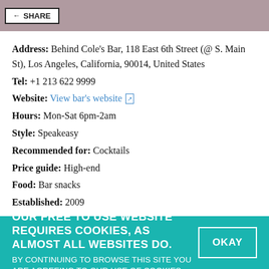SHARE
Address: Behind Cole's Bar, 118 East 6th Street (@ S. Main St), Los Angeles, California, 90014, United States
Tel: +1 213 622 9999
Website: View bar's website
Hours: Mon-Sat 6pm-2am
Style: Speakeasy
Recommended for: Cocktails
Price guide: High-end
Food: Bar snacks
Established: 2009
OUR FREE TO USE WEBSITE REQUIRES COOKIES, AS ALMOST ALL WEBSITES DO. BY CONTINUING TO BROWSE THIS SITE YOU ARE AGREEING TO OUR USE OF COOKIES.